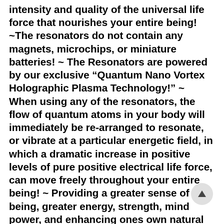intensity and quality of the universal life force that nourishes your entire being! ~The resonators do not contain any magnets, microchips, or miniature batteries! ~ The Resonators are powered by our exclusive “Quantum Nano Vortex Holographic Plasma Technology!” ~ When using any of the resonators, the flow of quantum atoms in your body will immediately be re-arranged to resonate, or vibrate at a particular energetic field, in which a dramatic increase in positive levels of pure positive electrical life force, can move freely throughout your entire being! ~ Providing a greater sense of well being, greater energy, strength, mind power, and enhancing ones own natural healing abilities! ~ Thus is accomplished via our “ Quantum Nano Holographic Plasma Vortex!” ~ This will have immediate effects on many subtle energetic levels within your whole being, as well as expanding the amount and quality, of pure positive life force! ~